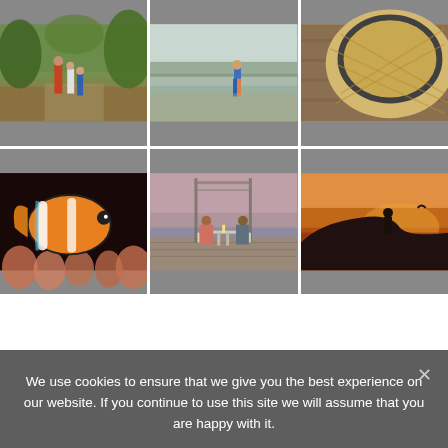[Figure (photo): A 3x2 grid of six travel/lifestyle photos: (1) adults and children walking on a forest path, (2) child wading in shallow water at a beach/lake, (3) close-up of a woven straw hat, (4) close-up of a clownfish in anemone, (5) couple dining at an outdoor beach table at dusk, (6) silhouette of a person on a rocky cliff at sunset]
We use cookies to ensure that we give you the best experience on our website. If you continue to use this site we will assume that you are happy with it.
OK   PRIVACY POLICY